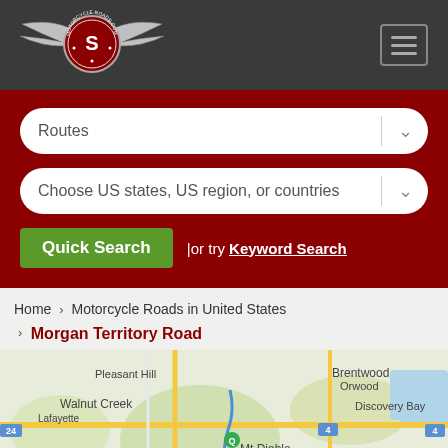[Figure (logo): Motorcycle Roads logo with wings and red circular emblem]
[Figure (screenshot): Hamburger menu icon button (three horizontal lines in a bordered square)]
[Figure (screenshot): Routes dropdown selector with down arrow]
[Figure (screenshot): Choose US states, US region, or countries dropdown selector with down arrow]
Quick Search | or try Keyword Search
Home > Motorcycle Roads in United States > Morgan Territory Road
[Figure (map): Google Maps showing area including Walnut Creek, Pleasant Hill, Mt Diablo, Brentwood, Discovery Bay, Byron, Orwood, Lafayette in California]